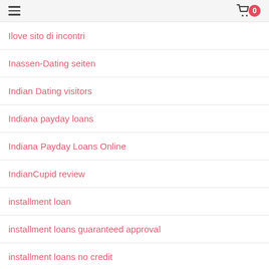hamburger menu | cart 0
Ilove sito di incontri
Inassen-Dating seiten
Indian Dating visitors
Indiana payday loans
Indiana Payday Loans Online
IndianCupid review
installment loan
installment loans guaranteed approval
installment loans no credit
installment loans now
installment loans with bad credit